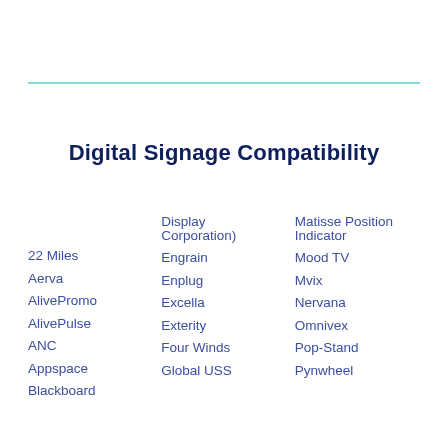Digital Signage Compatibility
22 Miles
Aerva
AlivePromo
AlivePulse
ANC
Appspace
Blackboard
Display Corporation)
Engrain
Enplug
Excella
Exterity
Four Winds
Global USS
Matisse Position Indicator
Mood TV
Mvix
Nervana
Omnivex
Pop-Stand
Pynwheel